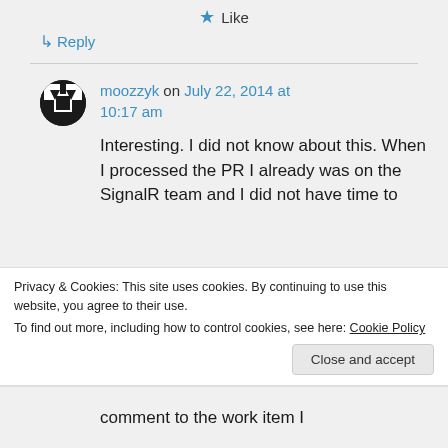★ Like
↳ Reply
moozzyk on July 22, 2014 at 10:17 am
Interesting. I did not know about this. When I processed the PR I already was on the SignalR team and I did not have time to
Privacy & Cookies: This site uses cookies. By continuing to use this website, you agree to their use.
To find out more, including how to control cookies, see here: Cookie Policy
Close and accept
comment to the work item I